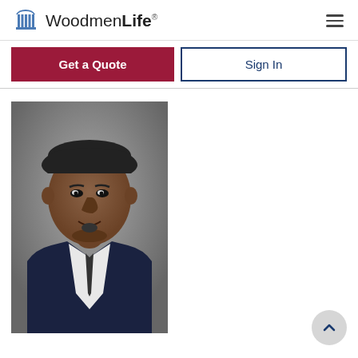[Figure (logo): WoodmenLife logo with dome/columns icon and wordmark]
Get a Quote
Sign In
[Figure (photo): Professional headshot of a middle-aged African American man in a dark suit and white shirt, against a grey background]